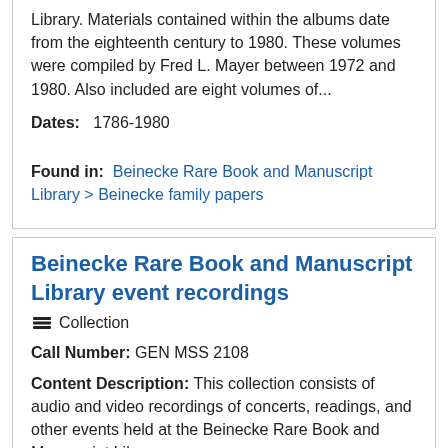Library. Materials contained within the albums date from the eighteenth century to 1980. These volumes were compiled by Fred L. Mayer between 1972 and 1980. Also included are eight volumes of...
Dates: 1786-1980
Found in: Beinecke Rare Book and Manuscript Library > Beinecke family papers
Beinecke Rare Book and Manuscript Library event recordings
Collection
Call Number: GEN MSS 2108
Content Description: This collection consists of audio and video recordings of concerts, readings, and other events held at the Beinecke Rare Book and Manuscript Library.
Dates: 1979-2006